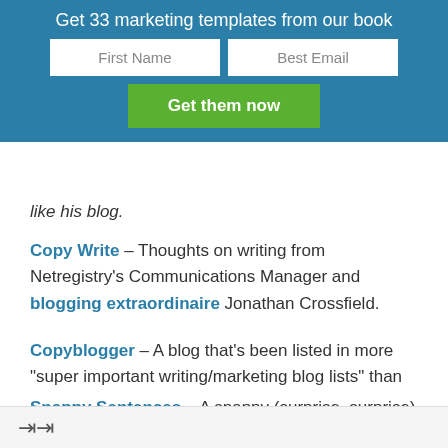Get 33 marketing templates from our book
like his blog.
Copy Write – Thoughts on writing from Netregistry's Communications Manager and blogging extraordinaire Jonathan Crossfield.
Copyblogger – A blog that's been listed in more "super important writing/marketing blog lists" than you can poke a stick at. A constant resource for web writing that works.
Snappy Sentences – A snappy (surprise, surprise) tip-laden read for anyone who wants to write effective copy.
share icon